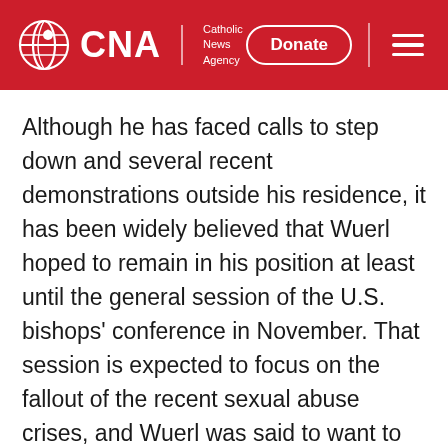CNA | Catholic News Agency | Donate
Although he has faced calls to step down and several recent demonstrations outside his residence, it has been widely believed that Wuerl hoped to remain in his position at least until the general session of the U.S. bishops' conference in November. That session is expected to focus on the fallout of the recent sexual abuse crises, and Wuerl was said to want to play and active part in helping the Church respond.
Speculation will now turn to the candidates to succeed him in Washington. The Archdiocese of